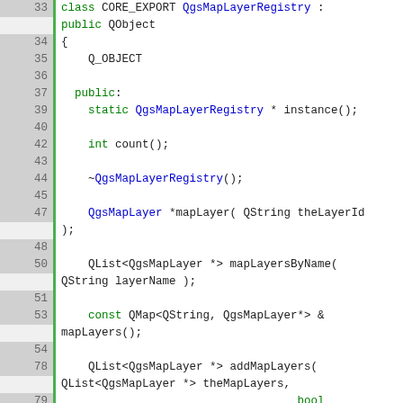[Figure (screenshot): Source code screenshot showing C++ class definition for QgsMapLayerRegistry with line numbers 33-122, syntax highlighted in monospace font. Green left border highlights active lines. Keywords in green, class names in blue.]